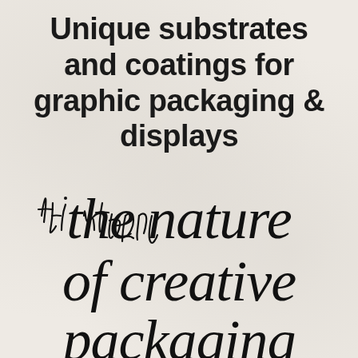Unique substrates and coatings for graphic packaging & displays
[Figure (illustration): Handwritten script text reading 'the nature of creative packaging' in large cursive lettering, partially cropped at the bottom]